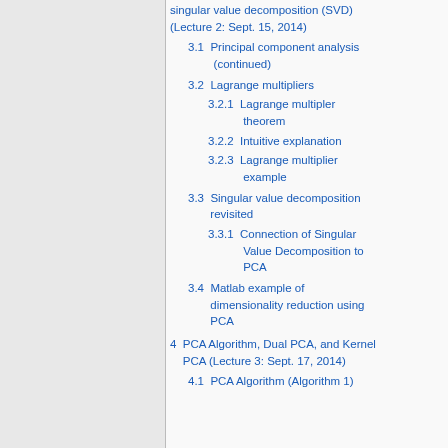singular value decomposition (SVD) (Lecture 2: Sept. 15, 2014)
3.1  Principal component analysis (continued)
3.2  Lagrange multipliers
3.2.1  Lagrange multipler theorem
3.2.2  Intuitive explanation
3.2.3  Lagrange multiplier example
3.3  Singular value decomposition revisited
3.3.1  Connection of Singular Value Decomposition to PCA
3.4  Matlab example of dimensionality reduction using PCA
4  PCA Algorithm, Dual PCA, and Kernel PCA (Lecture 3: Sept. 17, 2014)
4.1  PCA Algorithm (Algorithm 1)